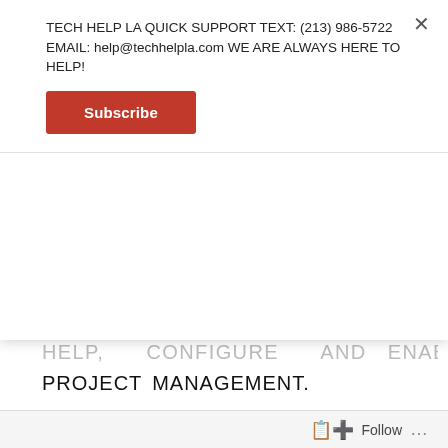TECH HELP LA QUICK SUPPORT TEXT: (213) 986-5722 EMAIL: help@techhelpla.com WE ARE ALWAYS HERE TO HELP!
Subscribe
PROJECT MANAGEMENT.
TECH HELP LA ALSO INCLUDES CLOUDHQ ONLINE SERVICES OFFERING INTEGRATED PRODUCTIVITY WORKFLOW SOLUTIONS RECOGNIZED AS THE TOP GLOBAL LEADING PROVIDER OF BACKUP, MIGRATION, AND SYNC OF GOOGLE WORKSPACE WITH ANY
Follow ...